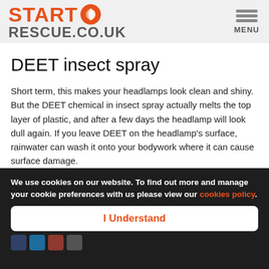START RESCUE.CO.UK  MENU
DEET insect spray
Short term, this makes your headlamps look clean and shiny. But the DEET chemical in insect spray actually melts the top layer of plastic, and after a few days the headlamp will look dull again. If you leave DEET on the headlamp's surface, rainwater can wash it onto your bodywork where it can cause surface damage.
Clear Coat Damage
This may work for about a year, but it wasn't designed for hea…
We use cookies on our website. To find out more and manage your cookie preferences with us please view our cookies policy.
I Understand